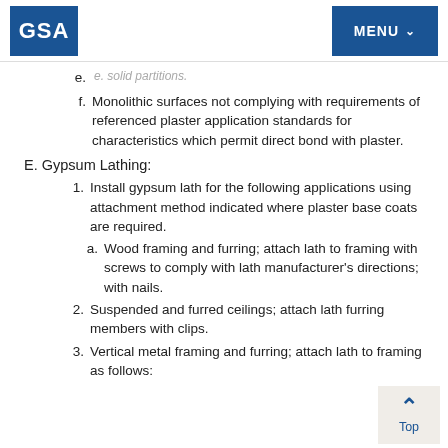GSA | MENU
f. Monolithic surfaces not complying with requirements of referenced plaster application standards for characteristics which permit direct bond with plaster.
E. Gypsum Lathing:
1. Install gypsum lath for the following applications using attachment method indicated where plaster base coats are required.
a. Wood framing and furring; attach lath to framing with screws to comply with lath manufacturer's directions; with nails.
2. Suspended and furred ceilings; attach lath furring members with clips.
3. Vertical metal framing and furring; attach lath to framing as follows: